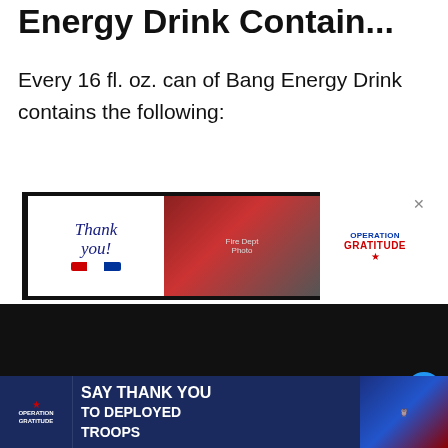Energy Drink Contain...
Every 16 fl. oz. can of Bang Energy Drink contains the following:
[Figure (screenshot): Advertisement banner for Operation Gratitude with 'Thank you!' handwritten text, American flag pencil graphic, photo of firefighters, and Operation Gratitude logo with close button]
[Figure (screenshot): Embedded video player (black/dark area) with heart/like button (blue circle), share button (white circle), and 'What's Next' overlay showing Bang Energy Drink thumbnail and text 'Is Bang Energy Drin...']
[Figure (screenshot): Bottom advertisement for Operation Gratitude: 'SAY THANK YOU TO DEPLOYED TROOPS' with logo, patriotic imagery, owl cartoon, and close button. Weather icon visible at right.]